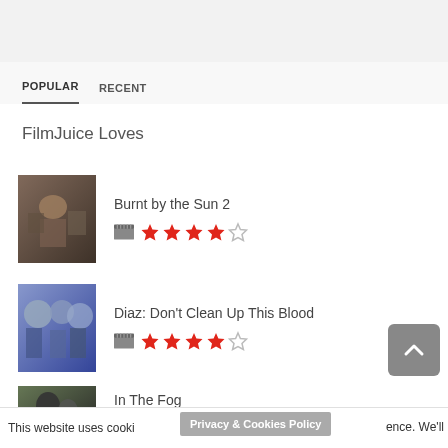POPULAR   RECENT
FilmJuice Loves
[Figure (photo): Movie thumbnail for Burnt by the Sun 2 — soldiers in combat]
Burnt by the Sun 2
[Figure (other): 4 out of 5 stars rating with clapperboard icon]
[Figure (photo): Movie thumbnail for Diaz: Don't Clean Up This Blood — riot police]
Diaz: Don't Clean Up This Blood
[Figure (other): 4 out of 5 stars rating with clapperboard icon]
[Figure (photo): Movie thumbnail for In The Fog — dark figures]
In The Fog
[Figure (other): 2 out of 5 stars rating with clapperboard icon]
This website uses cooki
Privacy & Cookies Policy
ence. We'll